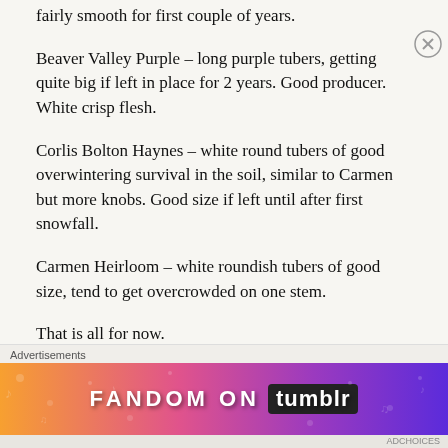fairly smooth for first couple of years.
Beaver Valley Purple – long purple tubers, getting quite big if left in place for 2 years.  Good producer. White crisp flesh.
Corlis Bolton Haynes – white round tubers of good overwintering survival in the soil, similar to Carmen but more knobs.  Good size if left until after first snowfall.
Carmen Heirloom – white roundish tubers of good size,  tend to get overcrowded on one stem.
That is all for now.
[Figure (other): Advertisements banner: FANDOM ON tumblr promotional banner with colorful gradient background (orange to purple)]